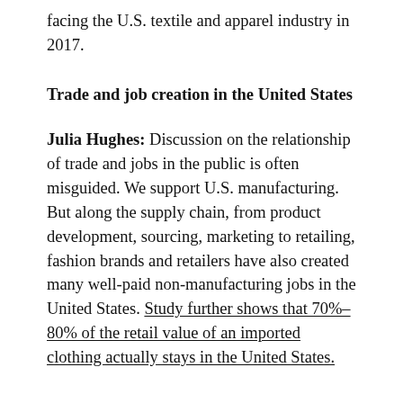facing the U.S. textile and apparel industry in 2017.
Trade and job creation in the United States
Julia Hughes: Discussion on the relationship of trade and jobs in the public is often misguided. We support U.S. manufacturing. But along the supply chain, from product development, sourcing, marketing to retailing, fashion brands and retailers have also created many well-paid non-manufacturing jobs in the United States. Study further shows that 70%-80% of the retail value of an imported clothing actually stays in the United States.